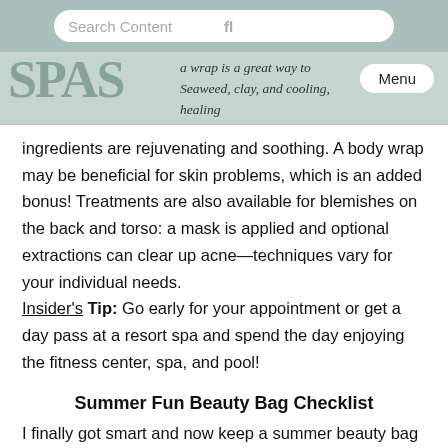Search Content
a wrap is a great way to feel rejuvenated. Seaweed, clay, and cooling, healing ingredients are rejuvenating and soothing. A body wrap may be beneficial for skin problems, which is an added bonus! Treatments are also available for blemishes on the back and torso: a mask is applied and optional extractions can clear up acne—techniques vary for your individual needs. Insider's Tip: Go early for your appointment or get a day pass at a resort spa and spend the day enjoying the fitness center, spa, and pool!
Summer Fun Beauty Bag Checklist
I finally got smart and now keep a summer beauty bag ready to go so I don't have to keep gathering everything up at the last minute (keep this by the